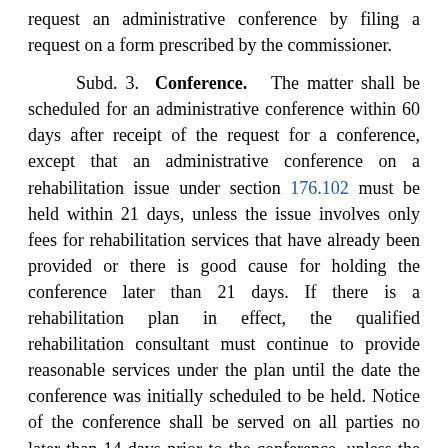request an administrative conference by filing a request on a form prescribed by the commissioner.
Subd. 3. Conference. The matter shall be scheduled for an administrative conference within 60 days after receipt of the request for a conference, except that an administrative conference on a rehabilitation issue under section 176.102 must be held within 21 days, unless the issue involves only fees for rehabilitation services that have already been provided or there is good cause for holding the conference later than 21 days. If there is a rehabilitation plan in effect, the qualified rehabilitation consultant must continue to provide reasonable services under the plan until the date the conference was initially scheduled to be held. Notice of the conference shall be served on all parties no later than 14 days prior to the conference, unless the commissioner or compensation judge determines that a conference shall not be held. The commissioner or compensation judge may order an administrative conference before the commissioner's designee whether or not a request for conference is filed.
The commissioner or compensation judge may refuse to hold an administrative conference and refer the matter for a